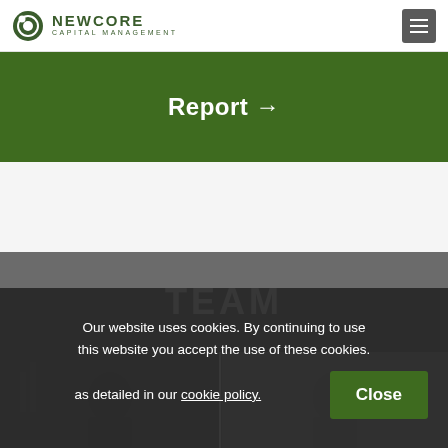NEWCORE CAPITAL MANAGEMENT
Report →
TEAM
[Figure (photo): Team member photos in a strip layout showing people in business attire outdoors]
Our website uses cookies. By continuing to use this website you accept the use of these cookies. as detailed in our cookie policy. Close